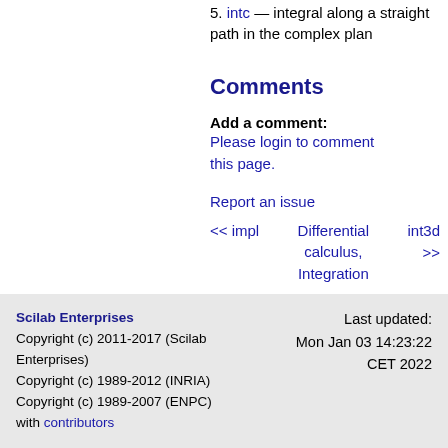5. intc — integral along a straight path in the complex plan
Comments
Add a comment:
Please login to comment this page.
Report an issue
<< impl   Differential calculus, Integration   int3d >>
Scilab Enterprises
Copyright (c) 2011-2017 (Scilab Enterprises)
Copyright (c) 1989-2012 (INRIA)
Copyright (c) 1989-2007 (ENPC)
with contributors
Last updated: Mon Jan 03 14:23:22 CET 2022